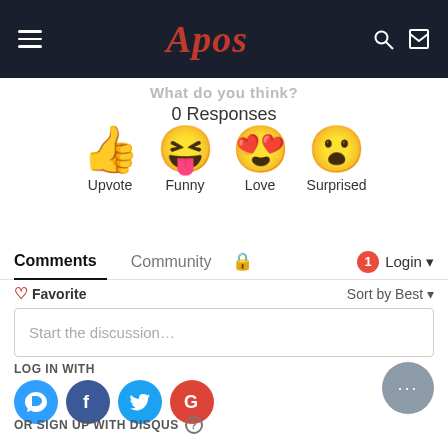Apos
What do you think?
0 Responses
[Figure (infographic): Four reaction emoji: thumbs up (Upvote), laughing face with tongue (Funny), heart eyes face (Love), surprised face (Surprised)]
Comments  Community  Login
Favorite   Sort by Best
Start the discussion...
LOG IN WITH
[Figure (infographic): Four social login icons: Disqus (blue), Facebook (dark blue), Twitter (light blue), Google (red)]
OR SIGN UP WITH DISQUS